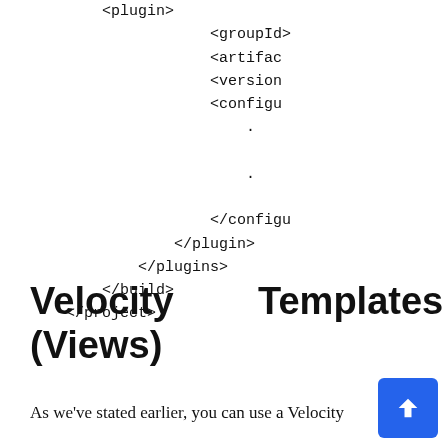<plugin>
                    <groupId>
                    <artifac
                    <version
                    <configu
                        .
                        .
                    </configu
                </plugin>
            </plugins>
        </build>
    </project>
Velocity Templates (Views)
As we've stated earlier, you can use a Velocity